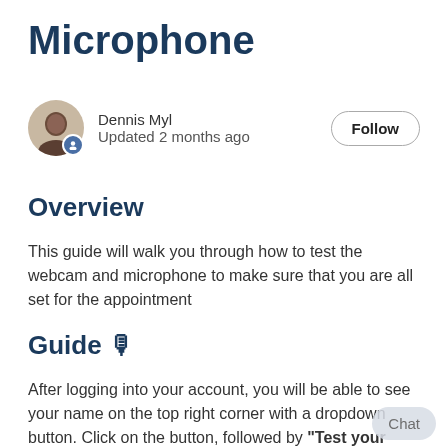Microphone
Dennis Myl
Updated 2 months ago
Overview
This guide will walk you through how to test the webcam and microphone to make sure that you are all set for the appointment
Guide 🎙
After logging into your account, you will be able to see your name on the top right corner with a dropdown button. Click on the button, followed by "Test your webcam and microphone"